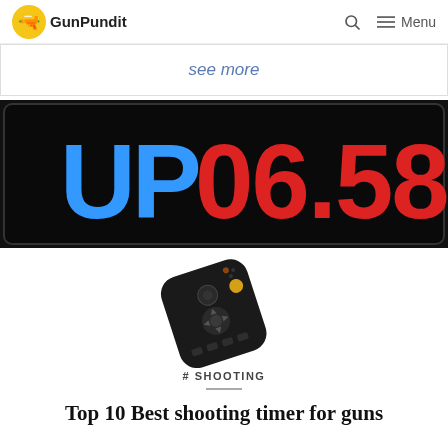GunPundit | Menu
see more
[Figure (photo): Close-up of a digital timer/scoreboard display showing 'UP' in blue LED digits and '06.58' in red LED digits on a black panel]
[Figure (photo): A black TV remote control shown at an angle on a white background]
# SHOOTING
Top 10 Best shooting timer for guns